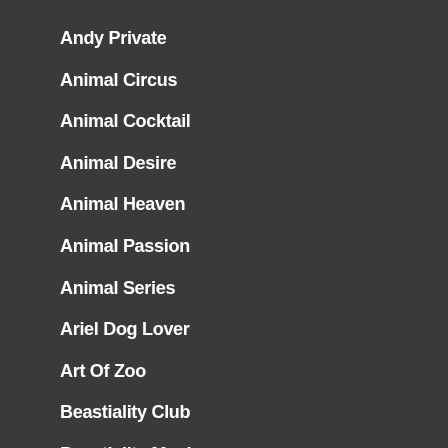Andy Private
Animal Circus
Animal Cocktail
Animal Desire
Animal Heaven
Animal Passion
Animal Series
Ariel Dog Lover
Art Of Zoo
Beastiality Club
Beastiality Maniac